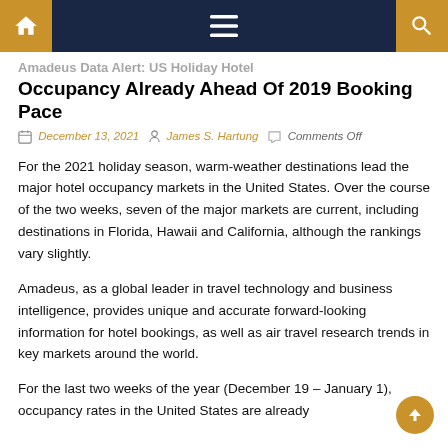Navigation bar with home, menu, and search icons
Amadeus Data Alert: US Holiday Hotel Occupancy Already Ahead Of 2019 Booking Pace
December 13, 2021  James S. Hartung  Comments Off
For the 2021 holiday season, warm-weather destinations lead the major hotel occupancy markets in the United States. Over the course of the two weeks, seven of the major markets are current, including destinations in Florida, Hawaii and California, although the rankings vary slightly.
Amadeus, as a global leader in travel technology and business intelligence, provides unique and accurate forward-looking information for hotel bookings, as well as air travel research trends in key markets around the world.
For the last two weeks of the year (December 19 – January 1), occupancy rates in the United States are already